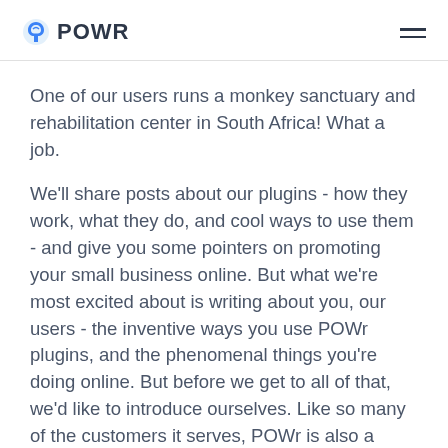POWR
One of our users runs a monkey sanctuary and rehabilitation center in South Africa! What a job.
We'll share posts about our plugins - how they work, what they do, and cool ways to use them - and give you some pointers on promoting your small business online. But what we're most excited about is writing about you, our users - the inventive ways you use POWr plugins, and the phenomenal things you're doing online. But before we get to all of that, we'd like to introduce ourselves. Like so many of the customers it serves, POWr is also a small business. We're an eight-person, one-dog company based in beautiful downtown San Francisco. Since 2014,